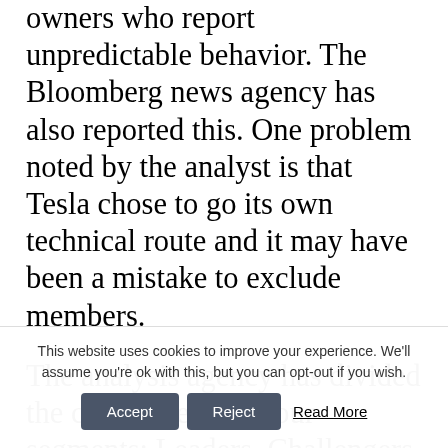owners who report unpredictable behavior. The Bloomberg news agency has also reported this. One problem noted by the analyst is that Tesla chose to go its own technical route and it may have been a mistake to exclude members.
The analysis agency has divided the companies into four segments: Leaders, Challengers, Bubbles, and Followers. All of the 19 companies that the report focuses on end up in the first three categories. For Tesla, who was once considered to be
This website uses cookies to improve your experience. We'll assume you're ok with this, but you can opt-out if you wish.